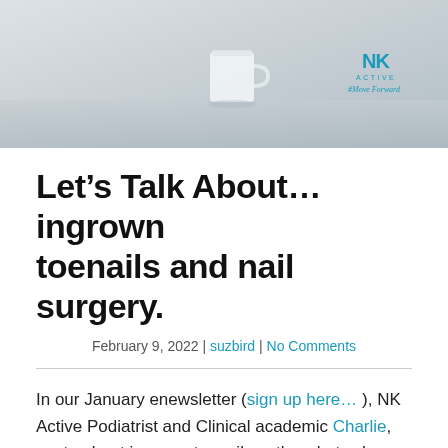[Figure (photo): Hero banner image showing a light grey/blue background with a white cup/mug visible, NK Active logo and #MoveForward tagline in the top right corner]
Let's Talk About… ingrown toenails and nail surgery.
February 9, 2022 | suzbird | No Comments
In our January enewsletter (sign up here…), NK Active Podiatrist and Clinical academic Charlie, wrote about ingrown toenails – the what, why, symptoms and how we treat this in clinic.
In our NK Active Romsey clinic, we are offering